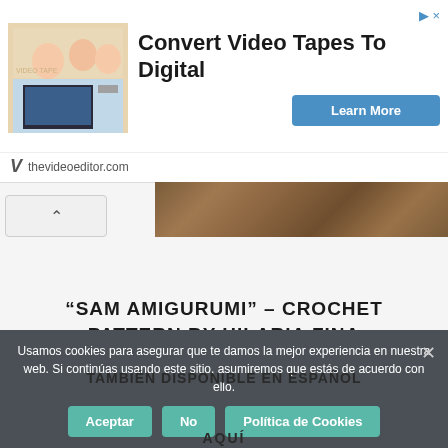[Figure (screenshot): Advertisement banner for 'Convert Video Tapes To Digital' from thevideoeditor.com with a Learn More button and photo of people looking at a laptop]
[Figure (photo): Horizontal strip of wood texture image]
“SAM AMIGURUMI” – CROCHET PATTERN BY HILARIA FINA
Usamos cookies para asegurar que te damos la mejor experiencia en nuestra web. Si continúas usando este sitio, asumiremos que estás de acuerdo con ello.
TAMBIÉN DISPONIBLE EN ESPAÑOL
AQUÍ